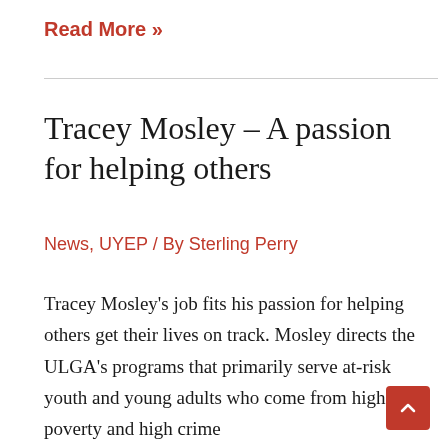Read More »
Tracey Mosley – A passion for helping others
News, UYEP / By Sterling Perry
Tracey Mosley's job fits his passion for helping others get their lives on track. Mosley directs the ULGA's programs that primarily serve at-risk youth and young adults who come from high poverty and high crime